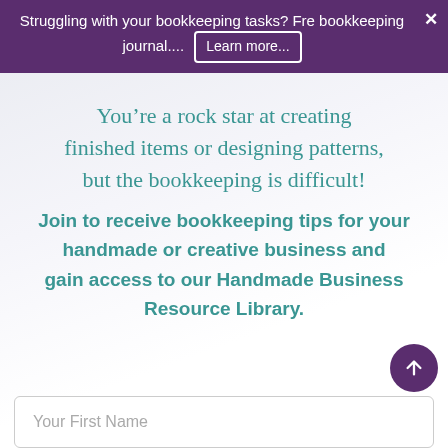Struggling with your bookkeeping tasks? Fre bookkeeping journal.... Learn more...
You’re a rock star at creating finished items or designing patterns, but the bookkeeping is difficult!
Join to receive bookkeeping tips for your handmade or creative business and gain access to our Handmade Business Resource Library.
Your First Name